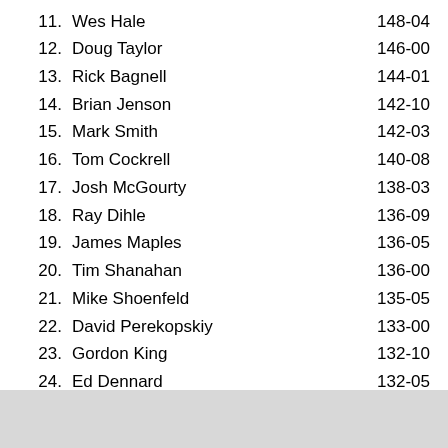11. Wes Hale 148-04
12. Doug Taylor 146-00
13. Rick Bagnell 144-01
14. Brian Jenson 142-10
15. Mark Smith 142-03
16. Tom Cockrell 140-08
17. Josh McGourty 138-03
18. Ray Dihle 136-09
19. James Maples 136-05
20. Tim Shanahan 136-00
21. Mike Shoenfeld 135-05
22. David Perekopskiy 133-00
23. Gordon King 132-10
24. Ed Dennard 132-05
25. Todd Bacon 131-10
26. Colton Harmon 131-05